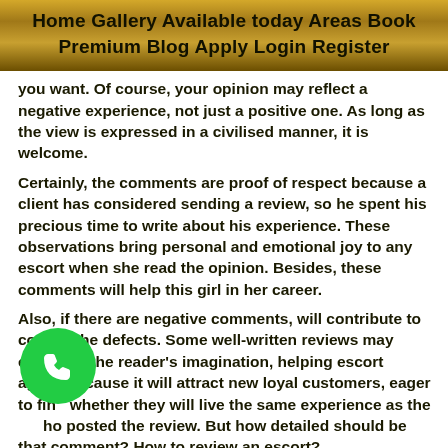Home Gallery Available today Areas Book Premium Blog Apply Login Register
you want. Of course, your opinion may reflect a negative experience, not just a positive one. As long as the view is expressed in a civilised manner, it is welcome.
Certainly, the comments are proof of respect because a client has considered sending a review, so he spent his precious time to write about his experience. These observations bring personal and emotional joy to any escort when she read the opinion. Besides, these comments will help this girl in her career.
Also, if there are negative comments, will contribute to correct the defects. Some well-written reviews may even lure the reader's imagination, helping escort again, because it will attract new loyal customers, eager to find whether they will live the same experience as the who posted the review. But how detailed should be that comment? How to review an escort?